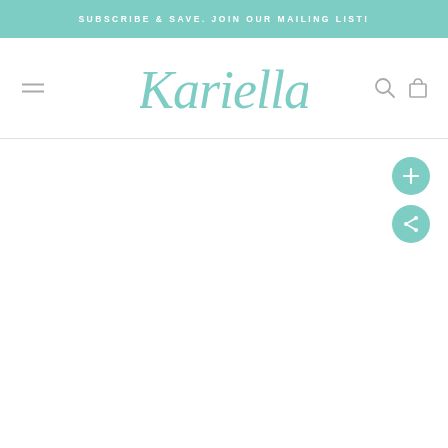SUBSCRIBE & SAVE. JOIN OUR MAILING LIST!
[Figure (logo): Kariella script logo in teal/mint color]
[Figure (infographic): Two teal circular floating action buttons: a plus (+) button and a share button]